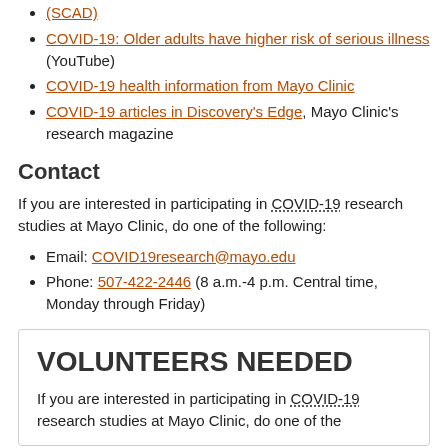(SCAD)
COVID-19: Older adults have higher risk of serious illness (YouTube)
COVID-19 health information from Mayo Clinic
COVID-19 articles in Discovery's Edge, Mayo Clinic's research magazine
Contact
If you are interested in participating in COVID-19 research studies at Mayo Clinic, do one of the following:
Email: COVID19research@mayo.edu
Phone: 507-422-2446 (8 a.m.-4 p.m. Central time, Monday through Friday)
VOLUNTEERS NEEDED
If you are interested in participating in COVID-19 research studies at Mayo Clinic, do one of the